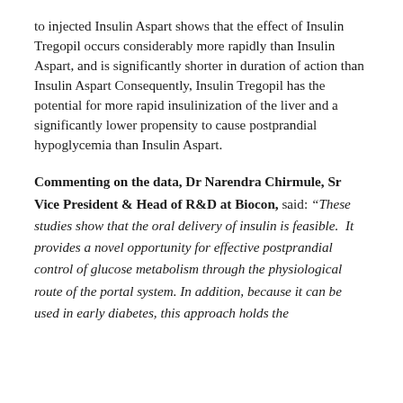to injected Insulin Aspart shows that the effect of Insulin Tregopil occurs considerably more rapidly than Insulin Aspart, and is significantly shorter in duration of action than Insulin Aspart Consequently, Insulin Tregopil has the potential for more rapid insulinization of the liver and a significantly lower propensity to cause postprandial hypoglycemia than Insulin Aspart.
Commenting on the data, Dr Narendra Chirmule, Sr Vice President & Head of R&D at Biocon, said: “These studies show that the oral delivery of insulin is feasible. It provides a novel opportunity for effective postprandial control of glucose metabolism through the physiological route of the portal system. In addition, because it can be used in early diabetes, this approach holds the